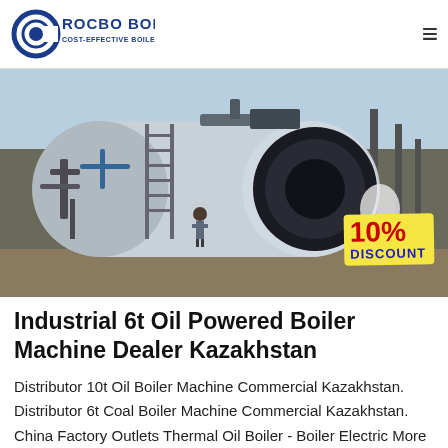ROCBO BOILER - COST-EFFECTIVE BOILER SUPPLIER
[Figure (photo): Industrial oil-powered boiler machine outdoors, large cylindrical silver boiler with piping and a worker standing nearby, with a 10% DISCOUNT badge overlay in the bottom right corner]
Industrial 6t Oil Powered Boiler Machine Dealer Kazakhstan
Distributor 10t Oil Boiler Machine Commercial Kazakhstan. Distributor 6t Coal Boiler Machine Commercial Kazakhstan. China Factory Outlets Thermal Oil Boiler - Boiler Electric More Photos